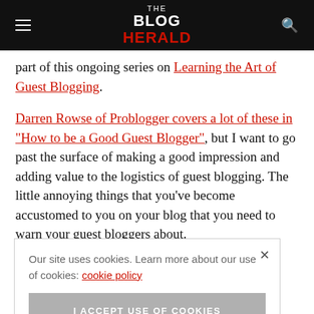THE BLOG HERALD
part of this ongoing series on Learning the Art of Guest Blogging.
Darren Rowse of Problogger covers a lot of these in "How to be a Good Guest Blogger", but I want to go past the surface of making a good impression and adding value to the logistics of guest blogging. The little annoying things that you've become accustomed to you on your blog that you need to warn your guest bloggers about.
Our site uses cookies. Learn more about our use of cookies: cookie policy
I ACCEPT USE OF COOKIES
have o share th tips on ke their experience comfortable and with no surprises.